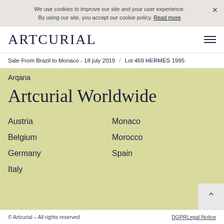We use cookies to improve our site and your user experience. By using our site, you accept our cookie policy. Read more
ARTCURIAL
Sale From Brazil to Monaco - 18 july 2019  /  Lot 459 HERMÈS 1995
Arqana
Artcurial Worldwide
Austria
Monaco
Belgium
Morocco
Germany
Spain
Italy
© Artcurial – All rights reserved   DGPRLegal Notice